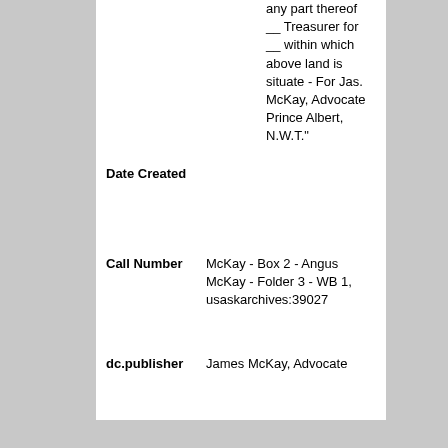any part thereof __ Treasurer for __ within which above land is situate - For Jas. McKay, Advocate Prince Albert, N.W.T."
| Field | Value |
| --- | --- |
| Date Created |  |
| Call Number | McKay - Box 2 - Angus McKay - Folder 3 - WB 1, usaskarchives:39027 |
| dc.publisher | James McKay, Advocate |